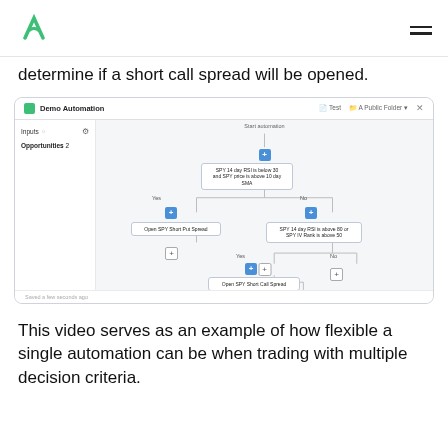Logo and navigation
determine if a short call spread will be opened.
[Figure (screenshot): Demo Automation flowchart screenshot showing a workflow: Start automation → condition (SPY 14 day RSI is below 30 and SPY price is above 10 day SMA) → Yes: Open SPY Short Put Spread; No: second condition (SPY 14 day RSI is above 80 or SPY IV Rank is above 50) → Yes: Open SPY Short Call Spread; No: end. Sidebar shows Inputs and Opportunities 2. Footer: Saved a few seconds ago.]
This video serves as an example of how flexible a single automation can be when trading with multiple decision criteria.